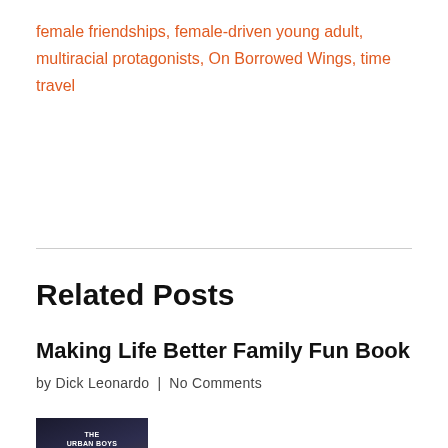female friendships, female-driven young adult, multiracial protagonists, On Borrowed Wings, time travel
Related Posts
Making Life Better Family Fun Book
by Dick Leonardo  |  No Comments
[Figure (photo): Book cover for The Urban Boys - Discovery of the Five Senses, showing three figures from behind walking toward a glowing alleyway]